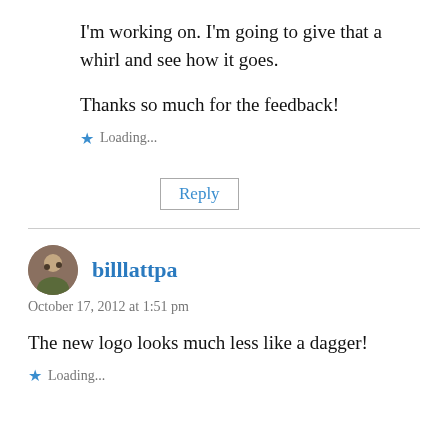I'm working on. I'm going to give that a whirl and see how it goes.
Thanks so much for the feedback!
Loading...
Reply
billlattpa
October 17, 2012 at 1:51 pm
The new logo looks much less like a dagger!
Loading...